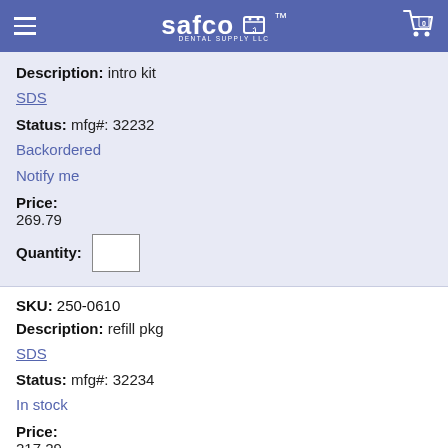Safco Dental Supply LLC
Description: intro kit
SDS
Status: mfg#: 32232
Backordered
Notify me
Price:
269.79
Quantity:
SKU: 250-0610
Description: refill pkg
SDS
Status: mfg#: 32234
In stock
Price:
217.29
Quantity:
Dark pink shade